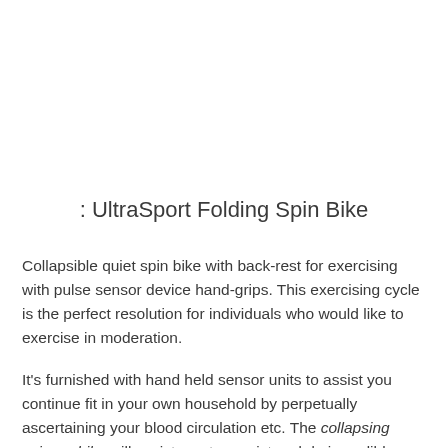: UltraSport Folding Spin Bike
Collapsible quiet spin bike with back-rest for exercising with pulse sensor device hand-grips. This exercising cycle is the perfect resolution for individuals who would like to exercise in moderation.
It's furnished with hand held sensor units to assist you continue fit in your own household by perpetually ascertaining your blood circulation etc. The collapsing spinner bike will assist you to persist and do incredible